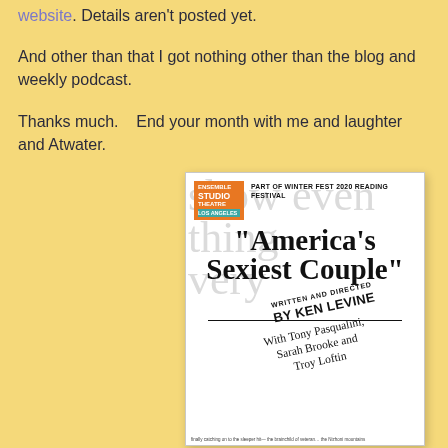website. Details aren't posted yet.
And other than that I got nothing other than the blog and weekly podcast.
Thanks much.   End your month with me and laughter and Atwater.
[Figure (illustration): Promotional poster for 'America's Sexiest Couple' — Part of Winter Fest 2020 Reading Festival, Ensemble Studio Theatre Los Angeles logo at top left. Main title in large serif bold font. Written and directed by Ken Levine (italicized rotated text). With Tony Pasqualini, Sarah Brooke and Troy Loftin.]